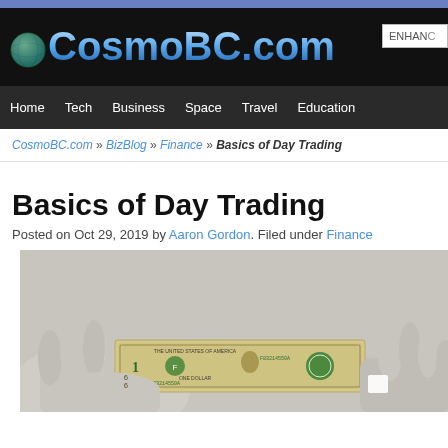CosmoBC.com
Home | Tech | Business | Space | Travel | Education
CosmoBC.com » BizBlog » Finance » Basics of Day Trading
Basics of Day Trading
Posted on Oct 29, 2019 by Aaron Gordon. Filed under Finance
[Figure (photo): Black and white photo of hands holding a US one dollar bill]